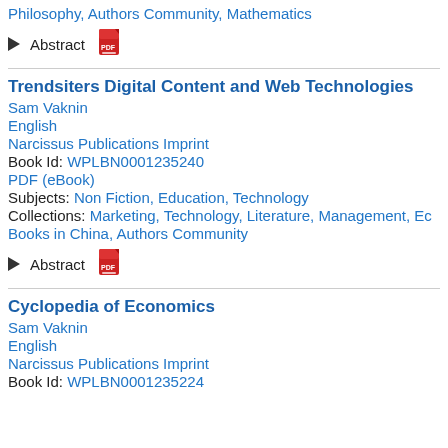Philosophy, Authors Community, Mathematics
▶ Abstract [PDF icon]
Trendsiters Digital Content and Web Technologies
Sam Vaknin
English
Narcissus Publications Imprint
Book Id: WPLBN0001235240
PDF (eBook)
Subjects: Non Fiction, Education, Technology
Collections: Marketing, Technology, Literature, Management, Ec Books in China, Authors Community
▶ Abstract [PDF icon]
Cyclopedia of Economics
Sam Vaknin
English
Narcissus Publications Imprint
Book Id: WPLBN0001235224